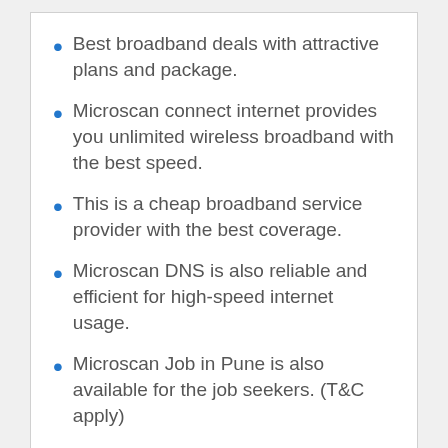Best broadband deals with attractive plans and package.
Microscan connect internet provides you unlimited wireless broadband with the best speed.
This is a cheap broadband service provider with the best coverage.
Microscan DNS is also reliable and efficient for high-speed internet usage.
Microscan Job in Pune is also available for the job seekers. (T&C apply)
Cons